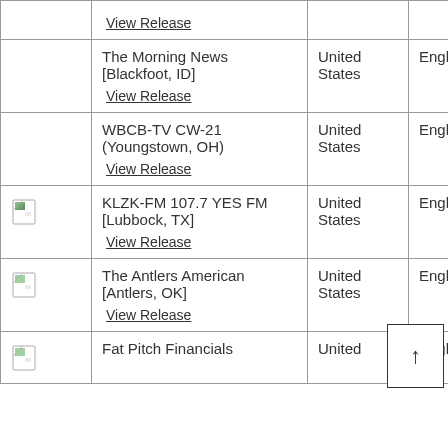|  | Publication | Country | Language | Type |
| --- | --- | --- | --- | --- |
|  | View Release |  |  |  |
|  | The Morning News [Blackfoot, ID]
View Release | United States | English | Ne |
|  | WBCB-TV CW-21 (Youngstown, OH)
View Release | United States | English | Br Mo |
| [icon] | KLZK-FM 107.7 YES FM [Lubbock, TX]
View Release | United States | English | Br Mo |
| [icon] | The Antlers American [Antlers, OK]
View Release | United States | English | Ne |
| [icon] | Fat Pitch Financials | United | English | Or |